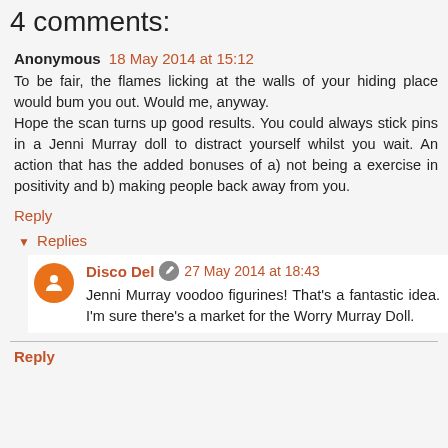4 comments:
Anonymous 18 May 2014 at 15:12
To be fair, the flames licking at the walls of your hiding place would bum you out. Would me, anyway.
Hope the scan turns up good results. You could always stick pins in a Jenni Murray doll to distract yourself whilst you wait. An action that has the added bonuses of a) not being a exercise in positivity and b) making people back away from you.
Reply
Replies
Disco Del 27 May 2014 at 18:43
Jenni Murray voodoo figurines! That's a fantastic idea. I'm sure there's a market for the Worry Murray Doll.
Reply